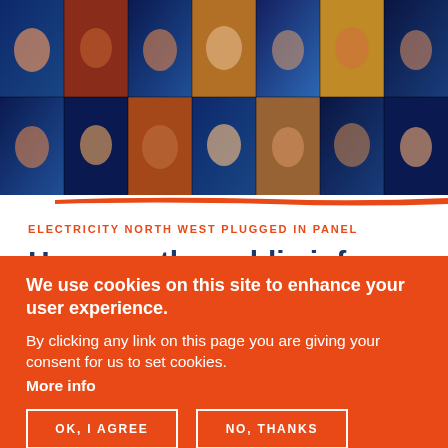[Figure (photo): A grid of video call participants shown in a colorful montage, multiple rows and columns of faces with blue, orange, and warm color tones.]
ELECTRICITY NORTH WEST PLUGGED IN PANEL
How can the public inform an electricity network operator's
We use cookies on this site to enhance your user experience.
By clicking any link on this page you are giving your consent for us to set cookies.
More info
OK, I AGREE
NO, THANKS